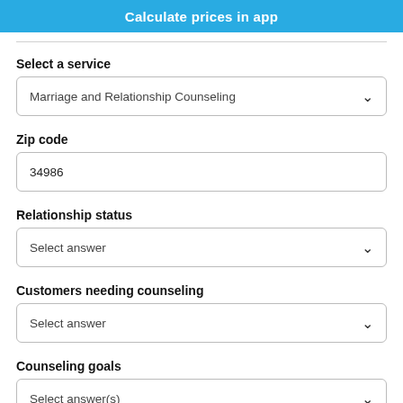Calculate prices in app
Select a service
Marriage and Relationship Counseling
Zip code
34986
Relationship status
Select answer
Customers needing counseling
Select answer
Counseling goals
Select answer(s)